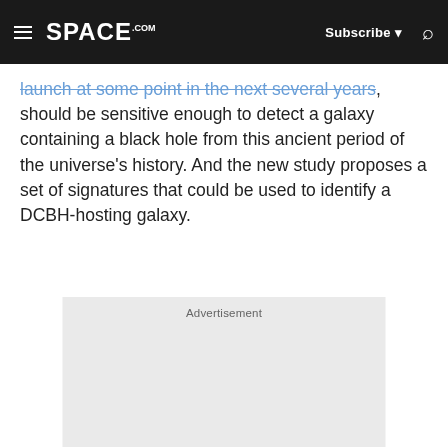SPACE.com | Subscribe | Search
launch at some point in the next several years, should be sensitive enough to detect a galaxy containing a black hole from this ancient period of the universe's history. And the new study proposes a set of signatures that could be used to identify a DCBH-hosting galaxy.
[Figure (other): Advertisement placeholder box with light gray background]